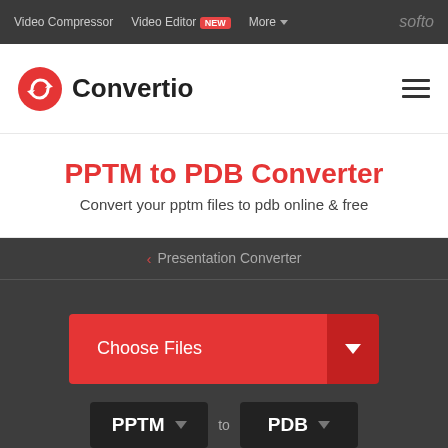Video Compressor  Video Editor NEW  More  softo
[Figure (logo): Convertio logo with red circular arrow icon and hamburger menu]
PPTM to PDB Converter
Convert your pptm files to pdb online & free
< Presentation Converter
Choose Files
PPTM  to  PDB